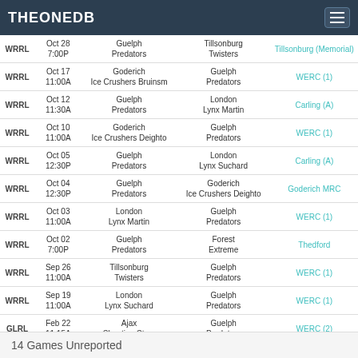THEONEDB
| League | Date/Time | Home | Away | Venue |
| --- | --- | --- | --- | --- |
| WRRL | Oct 28
7:00P | Guelph
Predators | Tillsonburg
Twisters | Tillsonburg (Memorial) |
| WRRL | Oct 17
11:00A | Goderich
Ice Crushers Bruinsm | Guelph
Predators | WERC (1) |
| WRRL | Oct 12
11:30A | Guelph
Predators | London
Lynx Martin | Carling (A) |
| WRRL | Oct 10
11:00A | Goderich
Ice Crushers Deighto | Guelph
Predators | WERC (1) |
| WRRL | Oct 05
12:30P | Guelph
Predators | London
Lynx Suchard | Carling (A) |
| WRRL | Oct 04
12:30P | Guelph
Predators | Goderich
Ice Crushers Deighto | Goderich MRC |
| WRRL | Oct 03
11:00A | London
Lynx Martin | Guelph
Predators | WERC (1) |
| WRRL | Oct 02
7:00P | Guelph
Predators | Forest
Extreme | Thedford |
| WRRL | Sep 26
11:00A | Tillsonburg
Twisters | Guelph
Predators | WERC (1) |
| WRRL | Sep 19
11:00A | London
Lynx Suchard | Guelph
Predators | WERC (1) |
| GLRL | Feb 22
11:15A | Ajax
Shooting Stars | Guelph
Predators | WERC (2) |
| GLRL | Feb 20
7:00P | Guelph
Predators | Elora-Fergus
Edge | Fergus (B) |
14 Games Unreported